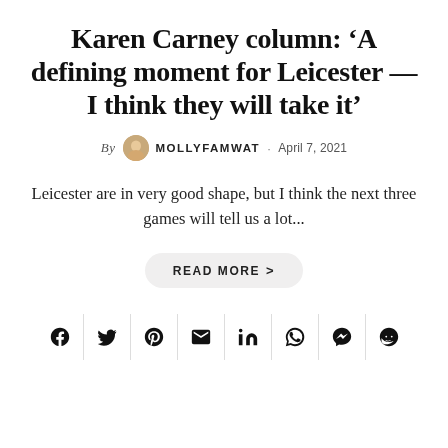Karen Carney column: ‘A defining moment for Leicester — I think they will take it’
By MOLLYFAMWAT · April 7, 2021
Leicester are in very good shape, but I think the next three games will tell us a lot...
READ MORE >
[Figure (infographic): Social share icons row: Facebook, Twitter, Pinterest, Email, LinkedIn, WhatsApp, Messenger, Reddit]